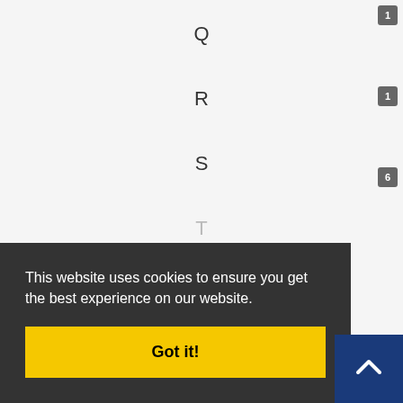Q
R
S
T
U
V
W
X
1
1
6
This website uses cookies to ensure you get the best experience on our website.
Got it!
A
Alternating groups